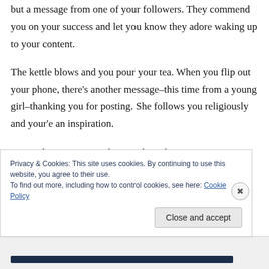but a message from one of your followers. They commend you on your success and let you know they adore waking up to your content.
The kettle blows and you pour your tea. When you flip out your phone, there’s another message–this time from a young girl–thanking you for posting. She follows you religiously and your’e an inspiration.
As you begin to respond, your phone buzzes again.
Privacy & Cookies: This site uses cookies. By continuing to use this website, you agree to their use.
To find out more, including how to control cookies, see here: Cookie Policy